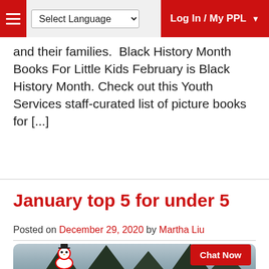Select Language | Log In / My PPL
and their families.  Black History Month Books For Little Kids February is Black History Month. Check out this Youth Services staff-curated list of picture books for [...]
January top 5 for under 5
Posted on December 29, 2020 by Martha Liu
[Figure (photo): A snowman toy figure in front of evergreen trees against a grey winter sky, with a Chat Now button overlay in the bottom right.]